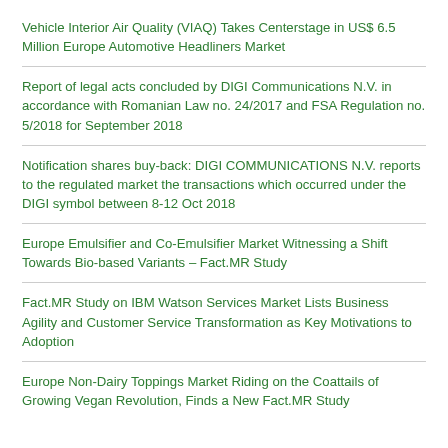Vehicle Interior Air Quality (VIAQ) Takes Centerstage in US$ 6.5 Million Europe Automotive Headliners Market
Report of legal acts concluded by DIGI Communications N.V. in accordance with Romanian Law no. 24/2017 and FSA Regulation no. 5/2018 for September 2018
Notification shares buy-back: DIGI COMMUNICATIONS N.V. reports to the regulated market the transactions which occurred under the DIGI symbol between 8-12 Oct 2018
Europe Emulsifier and Co-Emulsifier Market Witnessing a Shift Towards Bio-based Variants – Fact.MR Study
Fact.MR Study on IBM Watson Services Market Lists Business Agility and Customer Service Transformation as Key Motivations to Adoption
Europe Non-Dairy Toppings Market Riding on the Coattails of Growing Vegan Revolution, Finds a New Fact.MR Study